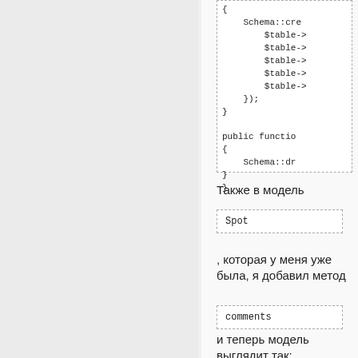[Figure (screenshot): Code block showing PHP migration snippet with Schema::create, $table fields, }); }, public function, { Schema::dr, } }]
Также в модель
[Figure (screenshot): Inline code box with text: Spot]
, которая у меня уже была, я добавил метод
[Figure (screenshot): Inline code box with text: comments]
и теперь модель выглядит так: